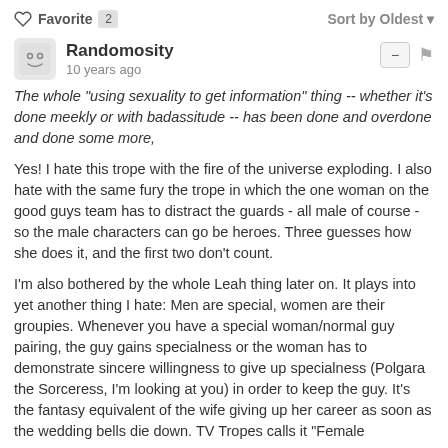♡ Favorite 2    Sort by Oldest ▾
Randomosity
10 years ago
The whole "using sexuality to get information" thing -- whether it's done meekly or with badassitude -- has been done and overdone and done some more,
Yes! I hate this trope with the fire of the universe exploding. I also hate with the same fury the trope in which the one woman on the good guys team has to distract the guards - all male of course - so the male characters can go be heroes. Three guesses how she does it, and the first two don't count.
I'm also bothered by the whole Leah thing later on. It plays into yet another thing I hate: Men are special, women are their groupies. Whenever you have a special woman/normal guy pairing, the guy gains specialness or the woman has to demonstrate sincere willingness to give up specialness (Polgara the Sorceress, I'm looking at you) in order to keep the guy. It's the fantasy equivalent of the wife giving up her career as soon as the wedding bells die down. TV Tropes calls it "Female